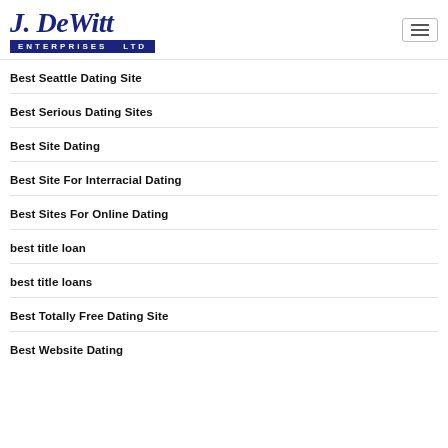J. DeWitt Enterprises Ltd
Best Seattle Dating Site
Best Serious Dating Sites
Best Site Dating
Best Site For Interracial Dating
Best Sites For Online Dating
best title loan
best title loans
Best Totally Free Dating Site
Best Website Dating